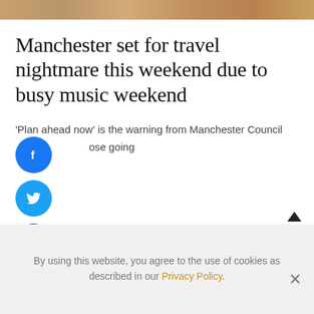[Figure (photo): Top image strip showing a crowd or event scene]
Manchester set for travel nightmare this weekend due to busy music weekend
'Plan ahead now' is the warning from Manchester Council those going
[Figure (infographic): Social share buttons: Facebook (blue circle with f icon), Twitter (light blue circle with bird icon), Email (dark circle with envelope icon)]
[Figure (other): Back to top arrow triangle icon]
By using this website, you agree to the use of cookies as described in our Privacy Policy.